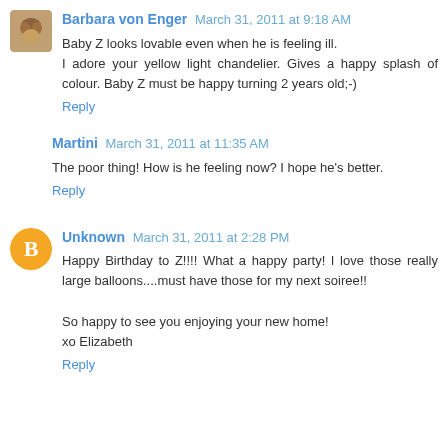Barbara von Enger  March 31, 2011 at 9:18 AM
Baby Z looks lovable even when he is feeling ill.
I adore your yellow light chandelier. Gives a happy splash of colour. Baby Z must be happy turning 2 years old;-)
Reply
Martini  March 31, 2011 at 11:35 AM
The poor thing! How is he feeling now? I hope he's better.
Reply
Unknown  March 31, 2011 at 2:28 PM
Happy Birthday to Z!!!! What a happy party! I love those really large balloons....must have those for my next soiree!!

So happy to see you enjoying your new home!
xo Elizabeth
Reply